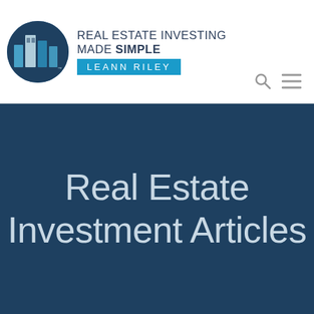[Figure (logo): Real Estate Investing Made Simple logo — circular blue building icon with brand name and LeAnn Riley badge]
Real Estate Investment Articles